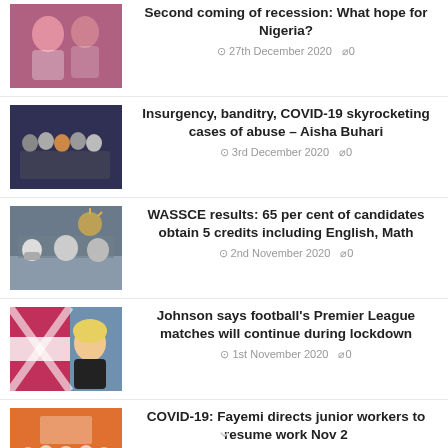Second coming of recession: What hope for Nigeria? — 27th December 2020, 0 comments
Insurgency, banditry, COVID-19 skyrocketing cases of abuse – Aisha Buhari — 3rd December 2020, 0 comments
WASSCE results: 65 per cent of candidates obtain 5 credits including English, Math — 2nd November 2020, 0 comments
Johnson says football's Premier League matches will continue during lockdown — 1st November 2020, 0 comments
COVID-19: Fayemi directs junior workers to resume work Nov 2 — 28th October 2020, 0 comments